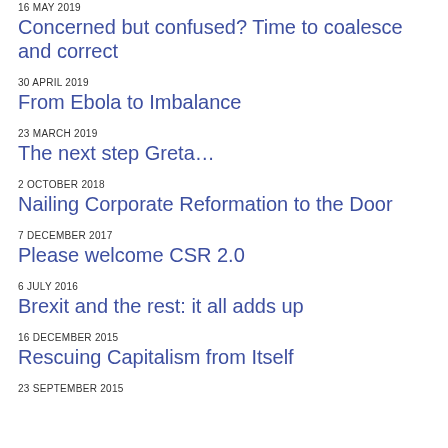16 MAY 2019
Concerned but confused? Time to coalesce and correct
30 APRIL 2019
From Ebola to Imbalance
23 MARCH 2019
The next step Greta…
2 OCTOBER 2018
Nailing Corporate Reformation to the Door
7 DECEMBER 2017
Please welcome CSR 2.0
6 JULY 2016
Brexit and the rest: it all adds up
16 DECEMBER 2015
Rescuing Capitalism from Itself
23 SEPTEMBER 2015